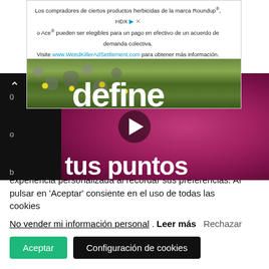[Figure (screenshot): Advertisement banner for WeedKillerAdSettlement.com in Spanish, with background image of garden stones and yellow flowers]
[Figure (screenshot): Video thumbnail showing knitting/crochet content with text 'define tus puntos' on purple yarn background, with play button overlay]
Usamos cookies en nuestra web para ofrecerle una experiencia personalizada al recordar sus preferencias. Al pulsar en 'Aceptar' consiente en el uso de todas las cookies
No vender mi información personal. Leer más Rechazar
Aceptar  Configuración de cookies